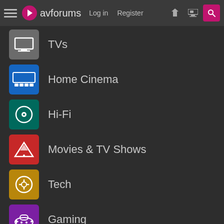avforums — Log in | Register
TVs
Home Cinema
Hi-Fi
Movies & TV Shows
Tech
Gaming
Europe's busiest forums, with independent news and expert reviews, for TVs, Home Cinema, Hi-Fi, Movies, Gaming, Tech and more. AVForums.com is owned and operated by M2N Limited, company number 03997482, registered in England and Wales. Powered by Xenforo. Hosted by Nimbus Hosting. Original design Critical Media Ltd. themoviedb.org This website uses the TMDb API but is not endorsed or certified by TMDb. Copyright © 2000-2022 M2N Limited E. & O.E.